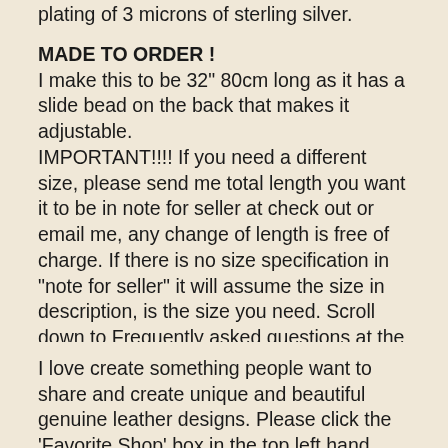plating of 3 microns of sterling silver.
MADE TO ORDER ! I make this to be 32' 80cm long as it has a slide bead on the back that makes it adjustable. IMPORTANT!!!! If you need a different size, please send me total length you want it to be in note for seller at check out or email me, any change of length is free of charge. If there is no size specification in "note for seller" it will assume the size in description, is the size you need. Scroll down to Frequently asked questions at the bottom of the page to find more info of how to find your SIZE.
I love create something people want to share and create unique and beautiful genuine leather designs. Please click the 'Favorite Shop' box in the top left hand corner and share, Your LIKES & SHARES are very much